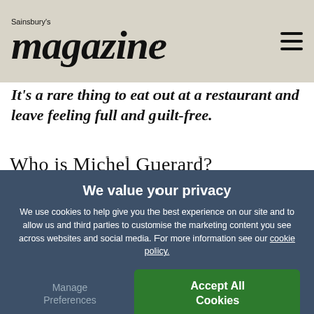Sainsbury's magazine
It's a rare thing to eat out at a restaurant and leave feeling full and guilt-free.
Who is Michel Guerard?
[Figure (photo): Architectural interior photo showing ornate window or colonnade framing with greenery/trees in background]
We value your privacy
We use cookies to help give you the best experience on our site and to allow us and third parties to customise the marketing content you see across websites and social media. For more information see our cookie policy.
Manage Preferences
Accept All Cookies